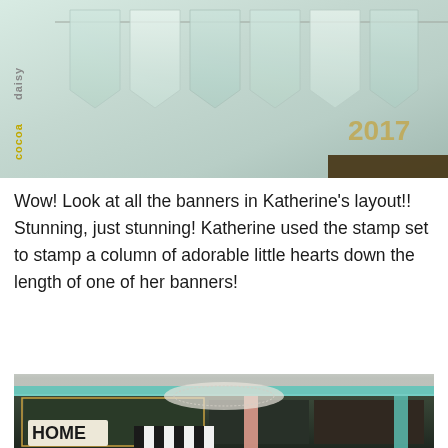[Figure (photo): Photo of decorative paper banner flags/pennants hanging in a row, with '2017' visible in gold text at right, and 'cocoadaisy' watermark text vertically on the left side. A dark brown strip runs along the bottom right.]
Wow! Look at all the banners in Katherine's layout!! Stunning, just stunning! Katherine used the stamp set to stamp a column of adorable little hearts down the length of one of her banners!
[Figure (photo): Photo of a scrapbook layout on a wood surface. Features colorful patterned papers, teal ribbon, a white doily, photos of succulents/plants, and a 'HOME' tag label. The layout includes black and white striped elements and floral patterned papers.]